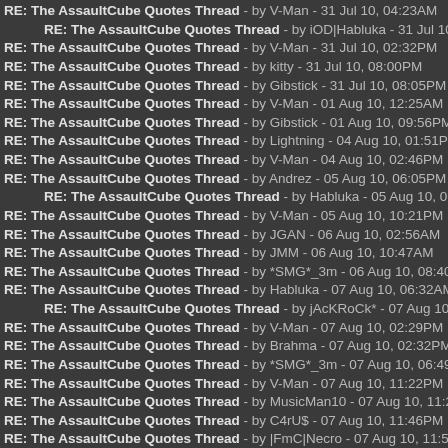RE: The AssaultCube Quotes Thread - by V-Man - 31 Jul 10, 04:23AM
RE: The AssaultCube Quotes Thread - by iOD|Habluka - 31 Jul 10, 05:01AM
RE: The AssaultCube Quotes Thread - by V-Man - 31 Jul 10, 02:32PM
RE: The AssaultCube Quotes Thread - by kitty - 31 Jul 10, 08:00PM
RE: The AssaultCube Quotes Thread - by Gibstick - 31 Jul 10, 08:05PM
RE: The AssaultCube Quotes Thread - by V-Man - 01 Aug 10, 12:25AM
RE: The AssaultCube Quotes Thread - by Gibstick - 01 Aug 10, 09:56PM
RE: The AssaultCube Quotes Thread - by Lightning - 04 Aug 10, 01:51PM
RE: The AssaultCube Quotes Thread - by V-Man - 04 Aug 10, 02:46PM
RE: The AssaultCube Quotes Thread - by Andrez - 05 Aug 10, 06:05PM
RE: The AssaultCube Quotes Thread - by Habluka - 05 Aug 10, 06:57PM
RE: The AssaultCube Quotes Thread - by V-Man - 05 Aug 10, 10:21PM
RE: The AssaultCube Quotes Thread - by JGAN - 06 Aug 10, 02:56AM
RE: The AssaultCube Quotes Thread - by JMM - 06 Aug 10, 10:47AM
RE: The AssaultCube Quotes Thread - by *SMG*_3m - 06 Aug 10, 08:40PM
RE: The AssaultCube Quotes Thread - by Habluka - 07 Aug 10, 06:32AM
RE: The AssaultCube Quotes Thread - by jAcKRoCk* - 07 Aug 10, 06:54AM
RE: The AssaultCube Quotes Thread - by V-Man - 07 Aug 10, 02:29PM
RE: The AssaultCube Quotes Thread - by Brahma - 07 Aug 10, 02:32PM
RE: The AssaultCube Quotes Thread - by *SMG*_3m - 07 Aug 10, 06:49PM
RE: The AssaultCube Quotes Thread - by V-Man - 07 Aug 10, 11:22PM
RE: The AssaultCube Quotes Thread - by MusicMan10 - 07 Aug 10, 11:22PM
RE: The AssaultCube Quotes Thread - by C4rU$ - 07 Aug 10, 11:46PM
RE: The AssaultCube Quotes Thread - by |FmC|Necro - 07 Aug 10, 11:55PM
RE: The AssaultCube Quotes Thread - by Harps - 08 Aug 10, 01:21AM